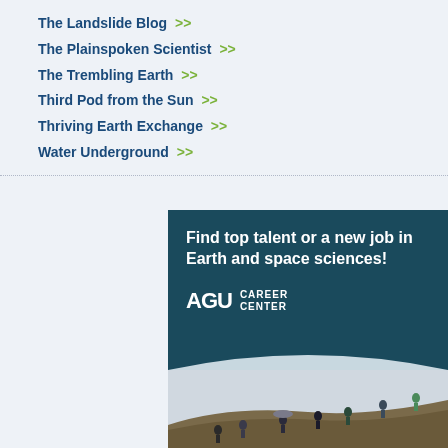The Landslide Blog >>
The Plainspoken Scientist >>
The Trembling Earth >>
Third Pod from the Sun >>
Thriving Earth Exchange >>
Water Underground >>
[Figure (illustration): AGU Career Center advertisement banner with teal background showing text 'Find top talent or a new job in Earth and space sciences!' with AGU Career Center logo, and a photo below of people walking up a hillside in rainy weather.]